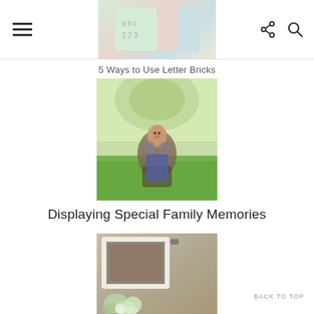5 Ways to Use Letter Bricks
[Figure (photo): A young toddler boy sitting on grass in a park, looking upward, wearing a striped shirt, with trees in the background]
Displaying Special Family Memories
[Figure (photo): A framed photo on a surface with flowers, showing a decorative display arrangement]
BACK TO TOP